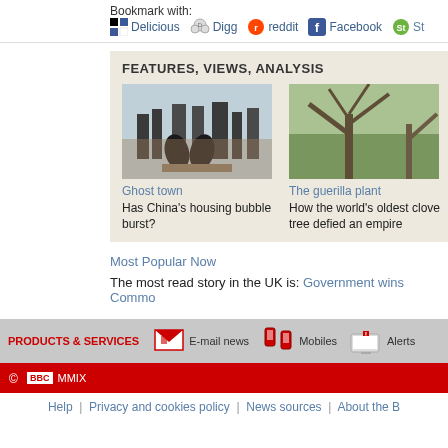Bookmark with: Delicious Digg reddit Facebook St
FEATURES, VIEWS, ANALYSIS
[Figure (photo): Photo of horse statues silhouetted against city skyline with construction cranes]
Ghost town
Has China's housing bubble burst?
[Figure (photo): Photo of old gnarled tree branches against sky]
The guerilla plant
How the world's oldest clove tree defied an empire
Most Popular Now
The most read story in the UK is: Government wins Commo
PRODUCTS & SERVICES   E-mail news   Mobiles   Alerts
© BBC MMIX
Help | Privacy and cookies policy | News sources | About the B